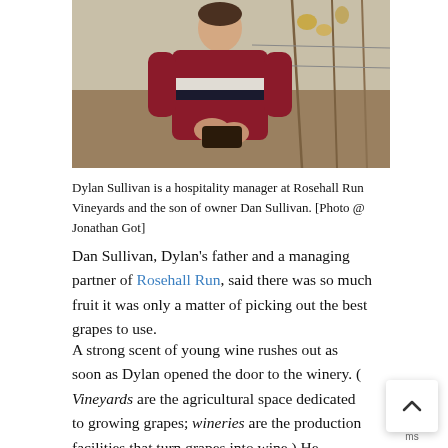[Figure (photo): Person in a maroon and white striped sweater examining vines in a vineyard during autumn, bare branches and a wire trellis visible in the background.]
Dylan Sullivan is a hospitality manager at Rosehall Run Vineyards and the son of owner Dan Sullivan. [Photo @ Jonathan Got]
Dan Sullivan, Dylan's father and a managing partner of Rosehall Run, said there was so much fruit it was only a matter of picking out the best grapes to use.
A strong scent of young wine rushes out as soon as Dylan opened the door to the winery. ( Vineyards are the agricultural space dedicated to growing grapes; wineries are the production facilities that turn grapes into wine.) He characterizes the early stages of winemaking as the “teenage” years of wine.